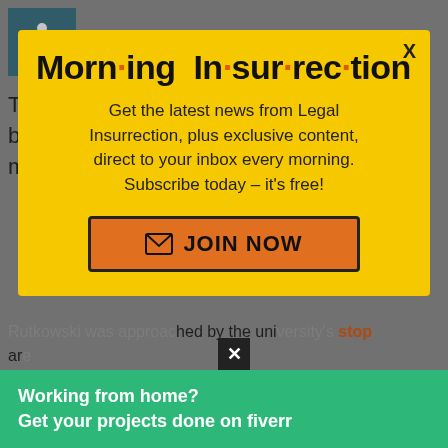[Figure (logo): Wheelchair accessibility icon on teal background]
The frozen prairies of Canada have always been home to strange events and mysterious
[Figure (infographic): Morning Insurrection email subscription popup modal with yellow background, close X button, title 'Morn·ing In·sur·rec·tion', body text and JOIN NOW button]
Rutkowski was approached by the university's stop
Working from home? Get your projects done on fiverr